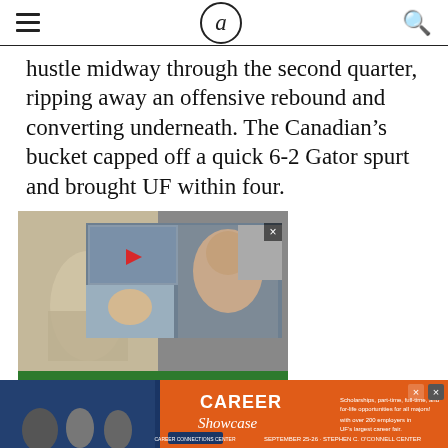[hamburger menu] a [search icon]
hustle midway through the second quarter, ripping away an offensive rebound and converting underneath. The Canadian’s bucket capped off a quick 6-2 Gator spurt and brought UF within four.
[Figure (photo): Advertisement overlay showing a collage of celebrity photos (woman reading newspaper, Angelina Jolie, airport scene, green lawn/pool) with a video play button and close X. Below is a banner for 'the independent florida alligator'.]
[Figure (photo): Bottom advertisement banner for 'CAREER Showcase' with dark blue and orange background, showing students and text about scholarships, part-time, full-time opportunities at UF career connections center.]